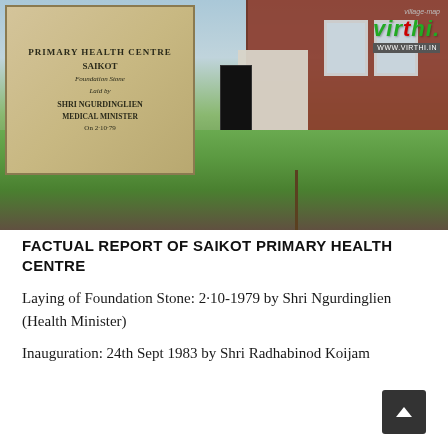[Figure (photo): Photograph of Saikot Primary Health Centre showing a stone foundation plaque on the left inscribed with 'Primary Health Centre Saikot, Foundation Stone Laid by Shri Ngurdinglien Medical Minister On 2-10-79', and the building exterior with grass in the foreground on the right. A Virthi.in watermark logo is visible in the top right corner.]
FACTUAL REPORT OF SAIKOT PRIMARY HEALTH CENTRE
Laying of Foundation Stone: 2·10-1979 by Shri Ngurdinglien (Health Minister)
Inauguration: 24th Sept 1983 by Shri Radhabinod Koijam